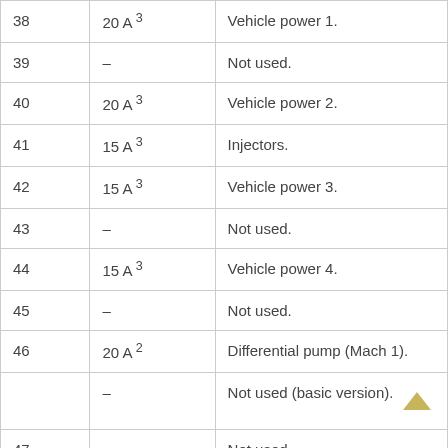| 38 | 20 A³ | Vehicle power 1. |
| 39 | – | Not used. |
| 40 | 20 A³ | Vehicle power 2. |
| 41 | 15 A³ | Injectors. |
| 42 | 15 A³ | Vehicle power 3. |
| 43 | – | Not used. |
| 44 | 15 A³ | Vehicle power 4. |
| 45 | – | Not used. |
| 46 | 20 A² | Differential pump (Mach 1). |
|  | – | Not used (basic version). |
| 47 |  | Not used. |